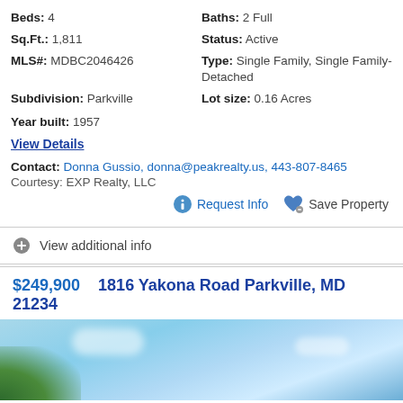Beds: 4
Baths: 2 Full
Sq.Ft.: 1,811
Status: Active
MLS#: MDBC2046426
Type: Single Family, Single Family-Detached
Subdivision: Parkville
Lot size: 0.16 Acres
Year built: 1957
View Details
Contact: Donna Gussio, donna@peakrealty.us, 443-807-8465
Courtesy: EXP Realty, LLC
Request Info
Save Property
View additional info
$249,900  1816 Yakona Road Parkville, MD 21234
[Figure (photo): Exterior photo of property at 1816 Yakona Road Parkville MD — sky and trees visible]